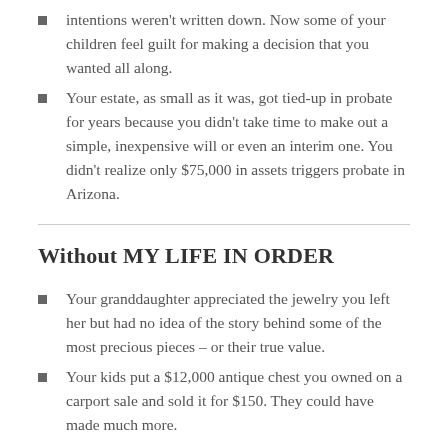intentions weren't written down. Now some of your children feel guilt for making a decision that you wanted all along.
Your estate, as small as it was, got tied-up in probate for years because you didn't take time to make out a simple, inexpensive will or even an interim one. You didn't realize only $75,000 in assets triggers probate in Arizona.
Without MY LIFE IN ORDER
Your granddaughter appreciated the jewelry you left her but had no idea of the story behind some of the most precious pieces – or their true value.
Your kids put a $12,000 antique chest you owned on a carport sale and sold it for $150. They could have made much more.
When writing your obituary, your children thought you were born in one city when you were really born in another and didn't know the names of your half or